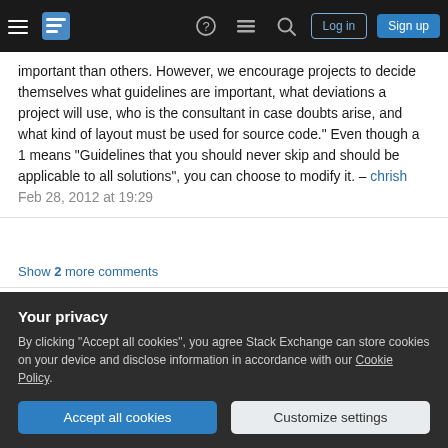Stack Exchange navigation bar with hamburger menu, logo, help, chat, search, Log in, Sign up buttons
important than others. However, we encourage projects to decide themselves what guidelines are important, what deviations a project will use, who is the consultant in case doubts arise, and what kind of layout must be used for source code." Even though a 1 means "Guidelines that you should never skip and should be applicable to all solutions", you can choose to modify it. – chrish Feb 28, 2012 at 19:29
Show 2 more comments
It is usually a good idea to split stuff into little methods. But the important thing is to split things
Your privacy
By clicking "Accept all cookies", you agree Stack Exchange can store cookies on your device and disclose information in accordance with our Cookie Policy.
Accept all cookies
Customize settings
aren't always more productive when using short